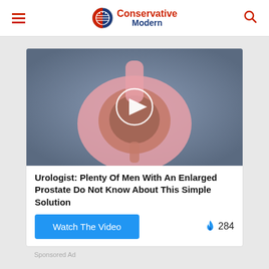Conservative Modern
[Figure (illustration): Medical illustration of an enlarged prostate anatomy with a video play button overlay]
Urologist: Plenty Of Men With An Enlarged Prostate Do Not Know About This Simple Solution
Watch The Video
🔥 284
Sponsored Ad